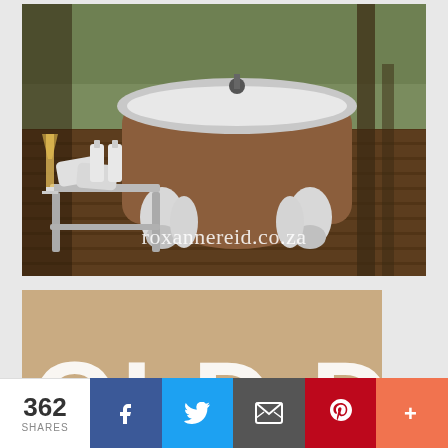[Figure (photo): Outdoor clawfoot bathtub painted brown with white interior on a wooden deck, beside a rustic stool with towels and a glass of champagne. Text overlay: roxannereid.co.za]
[Figure (photo): Partial view of a second image with tan/beige background and large white text reading OLD DRIFT (partially visible)]
362 SHARES
f (Facebook share button)
Twitter share button
Email share button
Pinterest share button
+ (More share options)